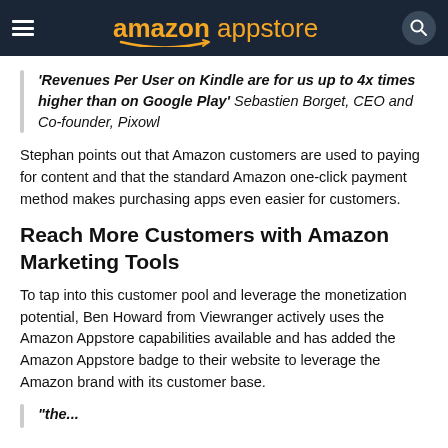amazon appstore
'Revenues Per User on Kindle are for us up to 4x times higher than on Google Play' Sebastien Borget, CEO and Co-founder, Pixowl
Stephan points out that Amazon customers are used to paying for content and that the standard Amazon one-click payment method makes purchasing apps even easier for customers.
Reach More Customers with Amazon Marketing Tools
To tap into this customer pool and leverage the monetization potential, Ben Howard from Viewranger actively uses the Amazon Appstore capabilities available and has added the Amazon Appstore badge to their website to leverage the Amazon brand with its customer base.
"the...